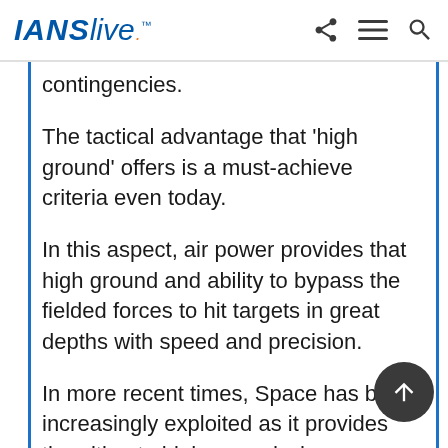IANS live
contingencies.
The tactical advantage that 'high ground' offers is a must-achieve criteria even today.
In this aspect, air power provides that high ground and ability to bypass the fielded forces to hit targets in great depths with speed and precision.
In more recent times, Space has been increasingly exploited as it provides the ultimate high ground where nation's forces